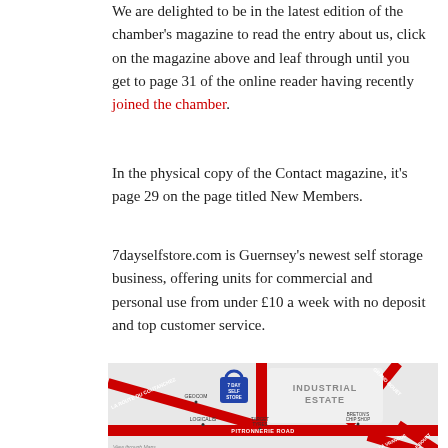We are delighted to be in the latest edition of the chamber's magazine to read the entry about us, click on the magazine above and leaf through until you get to page 31 of the online reader having recently joined the chamber.
In the physical copy of the Contact magazine, it's page 29 on the page titled New Members.
7dayselfstore.com is Guernsey's newest self storage business, offering units for commercial and personal use from under £10 a week with no deposit and top customer service.
[Figure (map): A map showing the location of 7 Day Self Store on Pitronnerie Road near an Industrial Estate in Guernsey, with surrounding roads including La Route du Coutanchez, Grand Bouet, La Vrangue, and Le Bouet. Nearby landmarks include Logicalis, Target Tyres, Breton's Chip Shop, and Geocom.]